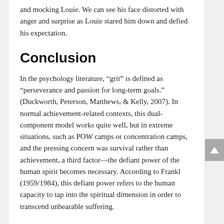and mocking Louie. We can see his face distorted with anger and surprise as Louie stared him down and defied his expectation.
Conclusion
In the psychology literature, “grit” is defined as “perseverance and passion for long-term goals.” (Duckworth, Peterson, Matthews, & Kelly, 2007). In normal achievement-related contexts, this dual-component model works quite well, but in extreme situations, such as POW camps or concentration camps, and the pressing concern was survival rather than achievement, a third factor—the defiant power of the human spirit becomes necessary. According to Frankl (1959/1984), this defiant power refers to the human capacity to tap into the spiritual dimension in order to transcend unbearable suffering.
At the deepest level, perseverance and passion are